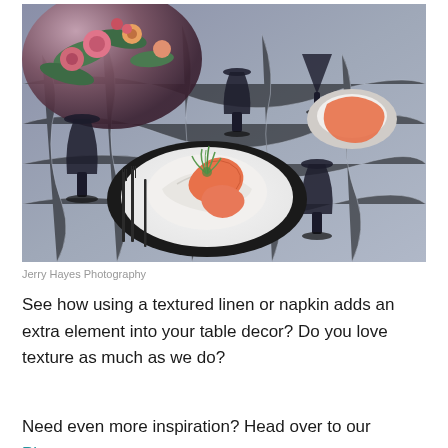[Figure (photo): Elegant table setting with textured linen tablecloth, black plates, white and orange napkins folded decoratively with a small air plant, black wine glasses, and floral centerpiece in background.]
Jerry Hayes Photography
See how using a textured linen or napkin adds an extra element into your table decor? Do you love texture as much as we do?
Need even more inspiration? Head over to our Pinterest or